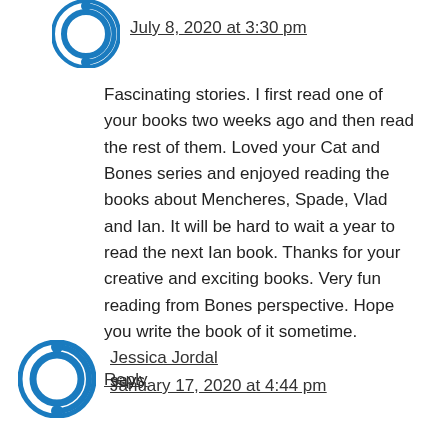July 8, 2020 at 3:30 pm
Fascinating stories. I first read one of your books two weeks ago and then read the rest of them. Loved your Cat and Bones series and enjoyed reading the books about Mencheres, Spade, Vlad and Ian. It will be hard to wait a year to read the next Ian book. Thanks for your creative and exciting books. Very fun reading from Bones perspective. Hope you write the book of it sometime.
Reply
Jessica Jordal says
January 17, 2020 at 4:44 pm